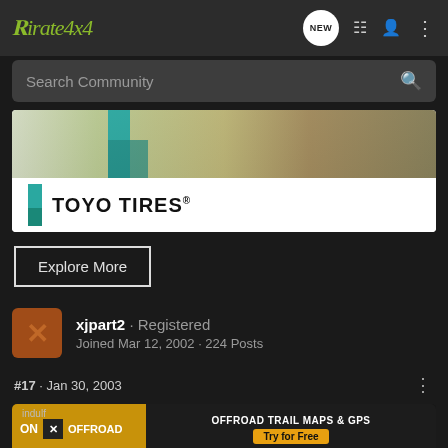Pirate4x4
Search Community
[Figure (advertisement): Toyo Tires advertisement banner with off-road trail background image and teal T-shaped logo]
Explore More
xjpart2 · Registered
Joined Mar 12, 2002 · 224 Posts
#17 · Jan 30, 2003
[Figure (advertisement): On X Offroad trail maps & GPS advertisement with Try for Free CTA]